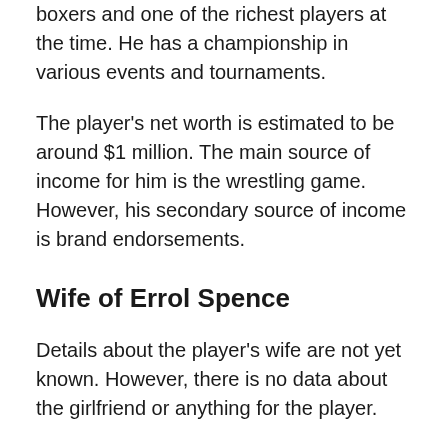boxers and one of the richest players at the time. He has a championship in various events and tournaments.
The player's net worth is estimated to be around $1 million. The main source of income for him is the wrestling game. However, his secondary source of income is brand endorsements.
Wife of Errol Spence
Details about the player's wife are not yet known. However, there is no data about the girlfriend or anything for the player.
Related Posts